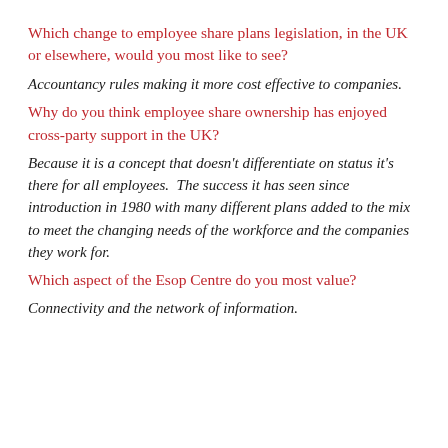Which change to employee share plans legislation, in the UK or elsewhere, would you most like to see?
Accountancy rules making it more cost effective to companies.
Why do you think employee share ownership has enjoyed cross-party support in the UK?
Because it is a concept that doesn't differentiate on status it's there for all employees.  The success it has seen since introduction in 1980 with many different plans added to the mix to meet the changing needs of the workforce and the companies they work for.
Which aspect of the Esop Centre do you most value?
Connectivity and the network of information.